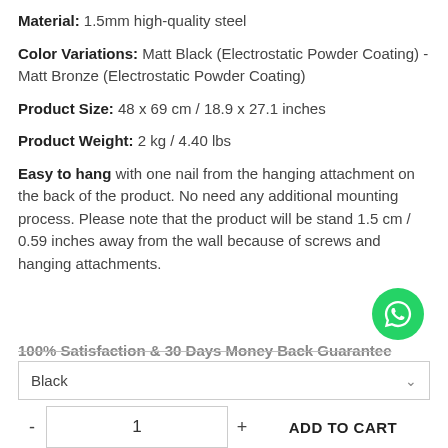Material: 1.5mm high-quality steel
Color Variations: Matt Black (Electrostatic Powder Coating) - Matt Bronze (Electrostatic Powder Coating)
Product Size: 48 x 69 cm / 18.9 x 27.1 inches
Product Weight: 2 kg / 4.40 lbs
Easy to hang with one nail from the hanging attachment on the back of the product. No need any additional mounting process. Please note that the product will be stand 1.5 cm / 0.59 inches away from the wall because of screws and hanging attachments.
100% Satisfaction & 30 Days Money Back Guarantee (partially visible, struck through)
Black (dropdown)
- 1 + ADD TO CART